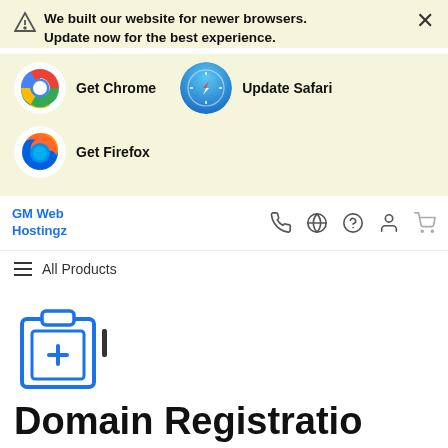We built our website for newer browsers. Update now for the best experience.
[Figure (screenshot): Browser update notification banner with Chrome, Safari, and Firefox icons and labels]
GM Web Hostingz
[Figure (infographic): Navigation bar icons: phone, globe, help, account, cart]
All Products
[Figure (illustration): Domain registration icon - clipboard with plus symbol]
Domain Registration